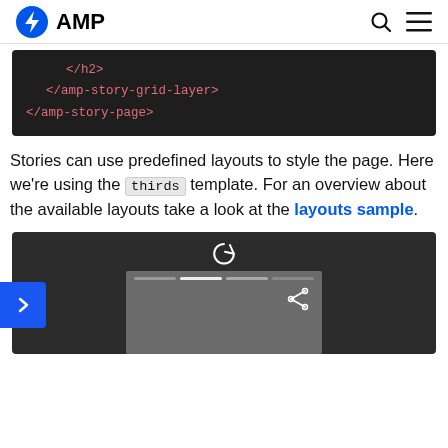AMP
[Figure (screenshot): Dark code block showing closing HTML tags: </h2>, </amp-story-grid-layer>, </amp-story-page>]
Stories can use predefined layouts to style the page. Here we're using the `thirds` template. For an overview about the available layouts take a look at the layouts sample.
[Figure (screenshot): AMP story preview UI with dark background, reload icon, progress bar segments, share icon, and a gray content panel]